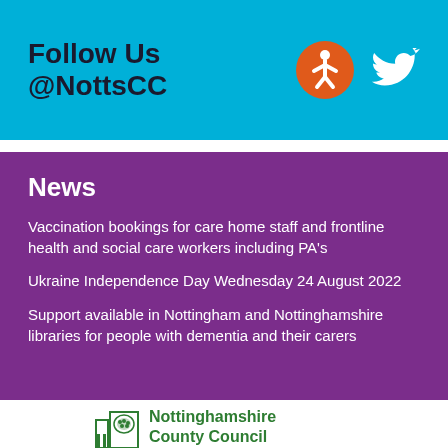Follow Us @NottsCC
News
Vaccination bookings for care home staff and frontline health and social care workers including PA's
Ukraine Independence Day Wednesday 24 August 2022
Support available in Nottingham and Nottinghamshire libraries for people with dementia and their carers
[Figure (logo): Nottinghamshire County Council logo with green tree emblem and text]